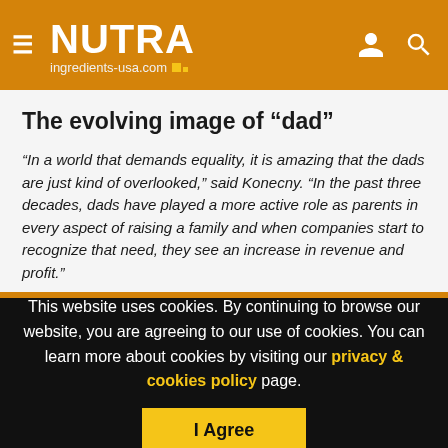NUTRA ingredients-usa.com
The evolving image of “dad”
“In a world that demands equality, it is amazing that the dads are just kind of overlooked,” said Konecny. “In the past three decades, dads have played a more active role as parents in every aspect of raising a family and when companies start to recognize that need, they see an increase in revenue and profit.”
This website uses cookies. By continuing to browse our website, you are agreeing to our use of cookies. You can learn more about cookies by visiting our privacy & cookies policy page.
I Agree